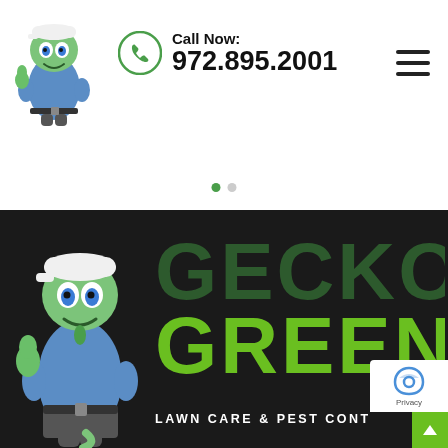[Figure (illustration): Gecko mascot character wearing a cap and blue uniform, giving thumbs up - top header version]
Call Now: 972.895.2001
[Figure (logo): Gecko Green Lawn Care & Pest Control logo on dark background with gecko mascot character]